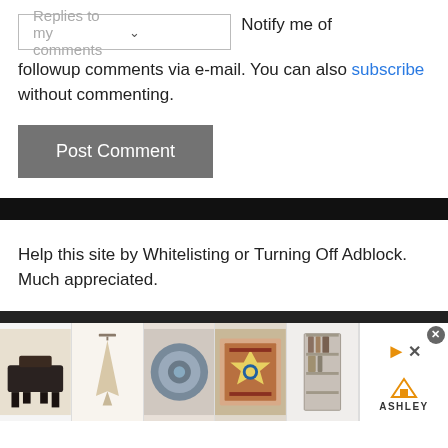Replies to my comments  ∨  Notify me of followup comments via e-mail. You can also subscribe without commenting.
[Figure (screenshot): Post Comment button - a grey rectangular button with white text]
Help this site by Whitelisting or Turning Off Adblock. Much appreciated.
[Figure (screenshot): Ashley Furniture advertisement strip showing 5 product thumbnails (dark sofa/table, wall hanging, decorative pillow, patterned rug, bookshelf) with Ashley logo and close button]